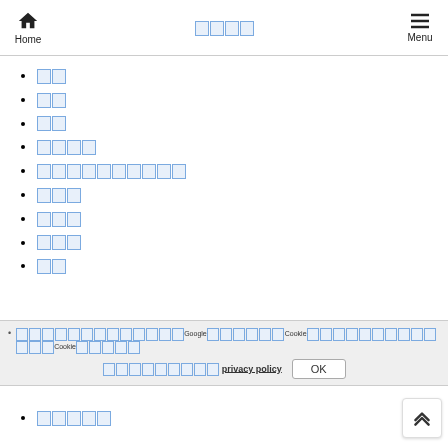Home | [CJK characters] | Menu
[CJK 2 chars - link]
[CJK 2 chars - link]
[CJK 2 chars - link]
[CJK 4 chars - link]
[CJK 10 chars - link]
[CJK 3 chars - link]
[CJK 3 chars - link]
[CJK 3 chars - link]
[CJK 2 chars - link]
[CJK cookie notice text]...Google...Cookie...Cookie...privacy policy OK
[CJK 5 chars - link]
[CJK 2 chars - link]